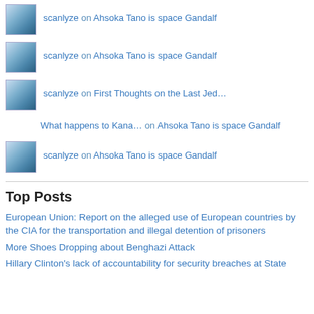scanlyze on Ahsoka Tano is space Gandalf
scanlyze on Ahsoka Tano is space Gandalf
scanlyze on First Thoughts on the Last Jed…
What happens to Kana… on Ahsoka Tano is space Gandalf
scanlyze on Ahsoka Tano is space Gandalf
Top Posts
European Union: Report on the alleged use of European countries by the CIA for the transportation and illegal detention of prisoners
More Shoes Dropping about Benghazi Attack
Hillary Clinton's lack of accountability for security breaches at State